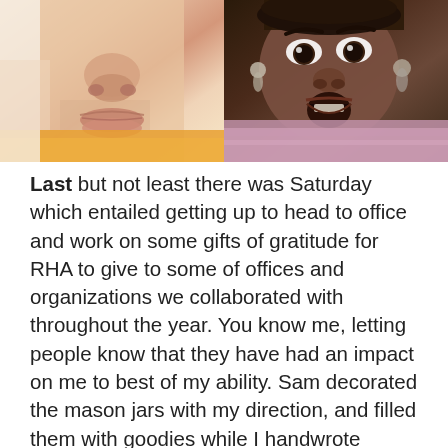[Figure (photo): Two side-by-side photos: left shows a close-up of a white male face (nose and lips visible), right shows a Black woman with an expressive surprised face wearing hoop earrings and a pink/purple furry top.]
Last but not least there was Saturday which entailed getting up to head to office and work on some gifts of gratitude for RHA to give to some of offices and organizations we collaborated with throughout the year. You know me, letting people know that they have had an impact on me to best of my ability. Sam decorated the mason jars with my direction, and filled them with goodies while I handwrote personalized notes for the twelve groups we wanted to thank. It was the day of the hall council block party so after problem solving a bit (story of my life, amirite) I made the rounds to take pictures, check out the festivities and congratulate all the amazing hall council members on their hard work. It was hands down the best one I'd been to in my time at my institution and their